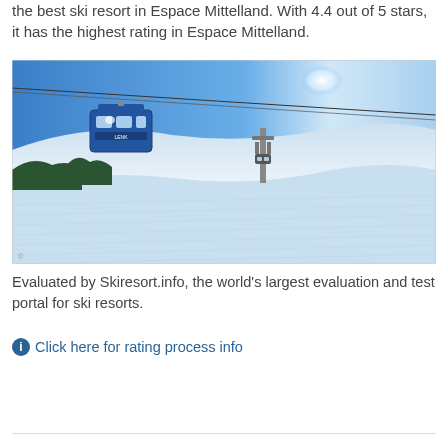the best ski resort in Espace Mittelland. With 4.4 out of 5 stars, it has the highest rating in Espace Mittelland.
[Figure (photo): Gondola cable car with 'Lenk' branding traveling over a wide groomed snow slope under a vivid blue sky, with ski lift pylons and tree line visible in the background.]
Evaluated by Skiresort.info, the world's largest evaluation and test portal for ski resorts.
Click here for rating process info